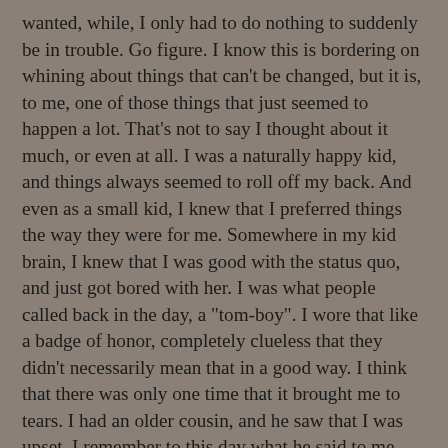wanted, while, I only had to do nothing to suddenly be in trouble. Go figure. I know this is bordering on whining about things that can't be changed, but it is, to me, one of those things that just seemed to happen a lot. That's not to say I thought about it much, or even at all. I was a naturally happy kid, and things always seemed to roll off my back. And even as a small kid, I knew that I preferred things the way they were for me. Somewhere in my kid brain, I knew that I was good with the status quo, and just got bored with her. I was what people called back in the day, a "tom-boy". I wore that like a badge of honor, completely clueless that they didn't necessarily mean that in a good way. I think that there was only one time that it brought me to tears. I had an older cousin, and he saw that I was upset. I remember to this day what he said to me. He knelt down to my level, and said, “don't worry, tom boys make the best women.” Then he winked at me. And he was right,